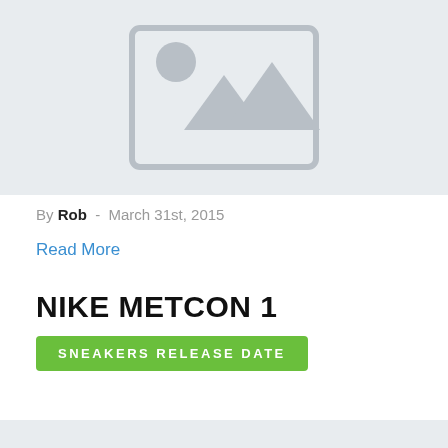[Figure (illustration): Placeholder image with grey background showing a mountain/landscape icon and circle (sun/moon) in outline style]
By Rob  -  March 31st, 2015
Read More
NIKE METCON 1
SNEAKERS RELEASE DATE